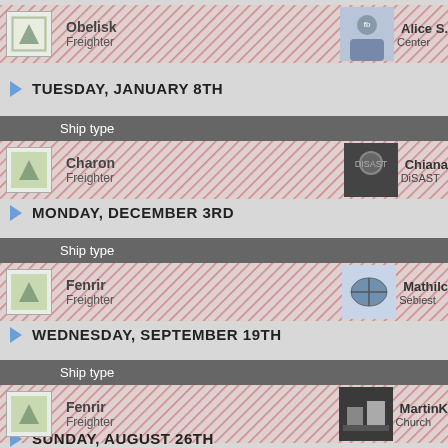Obelisk / Freighter | Alice S. / Center
TUESDAY, JANUARY 8TH
| Ship type |
| --- |
| Charon | Freighter | Chiana | DiSAST |
MONDAY, DECEMBER 3RD
| Ship type |
| --- |
| Fenrir | Freighter | Mathilc | Sebiest |
WEDNESDAY, SEPTEMBER 19TH
| Ship type |
| --- |
| Fenrir | Freighter | MartinK | Church |
SUNDAY, AUGUST 26TH
| Ship type |
| --- |
| Obelisk | Freighter | Zedma | UTA Mc |
SUNDAY, JUNE 3RD
| Ship type |
| --- |
| Fenrir | Freighter | Hero S. |  |